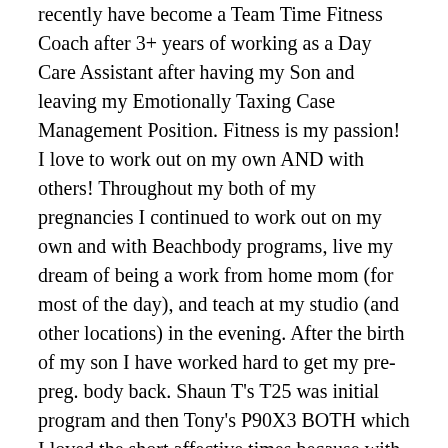recently have become a Team Time Fitness Coach after 3+ years of working as a Day Care Assistant after having my Son and leaving my Emotionally Taxing Case Management Position. Fitness is my passion! I love to work out on my own AND with others! Throughout my both of my pregnancies I continued to work out on my own and with Beachbody programs, live my dream of being a work from home mom (for most of the day), and teach at my studio (and other locations) in the evening. After the birth of my son I have worked hard to get my pre-preg. body back. Shaun T"s T25 was initial program and then Tony's P90X3 BOTH which I loved the short affective times because with having a newborn baby that was EXACTLY what I needed. I know and understand the self discipline it takes to achieve your desired goals and I am still on that path and have my struggles as everyone else does! I love to offer my support to my clientele with group fitness classes I offer in my community and I feel we work as a team all together to HELP each